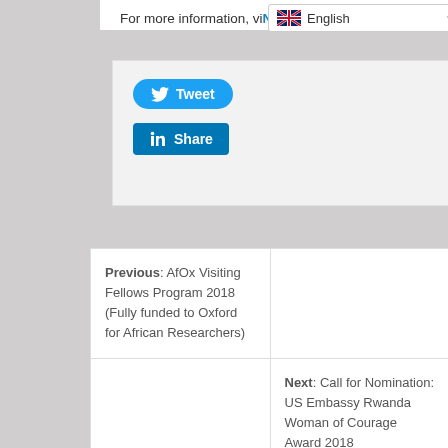For more information, visit the Natali Media Prize.
[Figure (screenshot): Language selector showing UK flag and 'English' with dropdown arrow]
[Figure (screenshot): Social sharing buttons: Tweet (Twitter/blue rounded) and Share (LinkedIn/blue square)]
Previous: AfOx Visiting Fellows Program 2018 (Fully funded to Oxford for African Researchers)
Next: Call for Nomination: US Embassy Rwanda Woman of Courage Award 2018